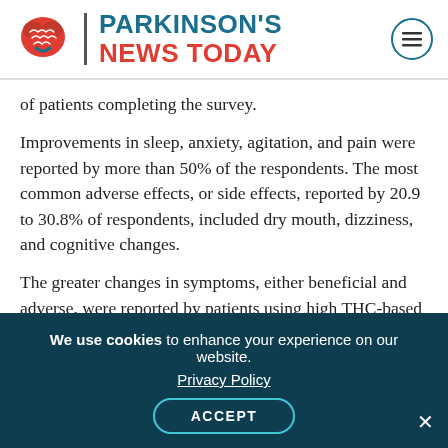PARKINSON'S NEWS TODAY
of patients completing the survey.
Improvements in sleep, anxiety, agitation, and pain were reported by more than 50% of the respondents. The most common adverse effects, or side effects, reported by 20.9 to 30.8% of respondents, included dry mouth, dizziness, and cognitive changes.
The greater changes in symptoms, either beneficial and adverse, were reported by patients using high THC-based products.
We use cookies to enhance your experience on our website. Privacy Policy ACCEPT